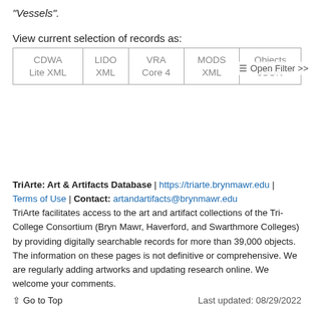"Vessels".
View current selection of records as:
| CDWA
Lite XML | LIDO
XML | VRA
Core 4 | MODS
XML | Objects
JSON |
☰ Open Filter >>
TriArte: Art & Artifacts Database | https://triarte.brynmawr.edu | Terms of Use | Contact: artandartifacts@brynmawr.edu
TriArte facilitates access to the art and artifact collections of the Tri-College Consortium (Bryn Mawr, Haverford, and Swarthmore Colleges) by providing digitally searchable records for more than 39,000 objects. The information on these pages is not definitive or comprehensive. We are regularly adding artworks and updating research online. We welcome your comments.
↑ Go to Top    Last updated: 08/29/2022